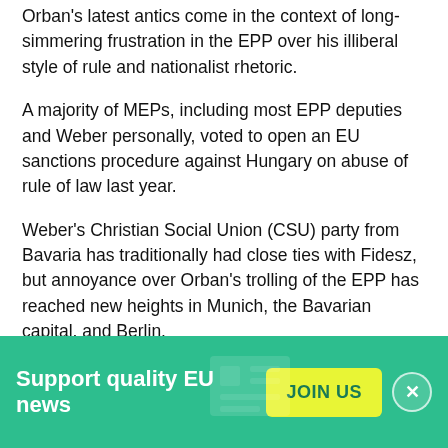Orban's latest antics come in the context of long-simmering frustration in the EPP over his illiberal style of rule and nationalist rhetoric.
A majority of MEPs, including most EPP deputies and Weber personally, voted to open an EU sanctions procedure against Hungary on abuse of rule of law last year.
Weber's Christian Social Union (CSU) party from Bavaria has traditionally had close ties with Fidesz, but annoyance over Orban's trolling of the EPP has reached new heights in Munich, the Bavarian capital, and Berlin.
For her part, Annegret Kramp-Karrenbauer, the head of
Support quality EU news